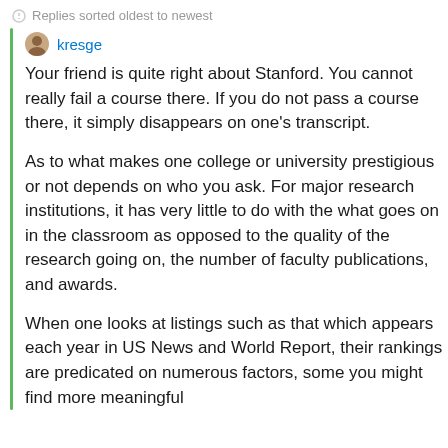Replies sorted oldest to newest
kresge
Your friend is quite right about Stanford. You cannot really fail a course there. If you do not pass a course there, it simply disappears on one's transcript.
As to what makes one college or university prestigious or not depends on who you ask. For major research institutions, it has very little to do with the what goes on in the classroom as opposed to the quality of the research going on, the number of faculty publications, and awards.
When one looks at listings such as that which appears each year in US News and World Report, their rankings are predicated on numerous factors, some you might find more meaningful